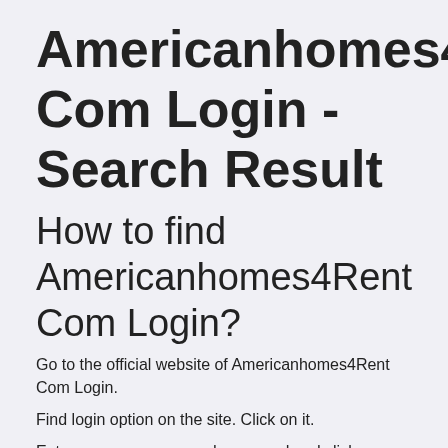Americanhomes4Rent Com Login - Search Result
How to find Americanhomes4Rent Com Login?
Go to the official website of Americanhomes4Rent Com Login.
Find login option on the site. Click on it.
Enter your username and password and click on login.
Sometimes you might get into some error or you might have